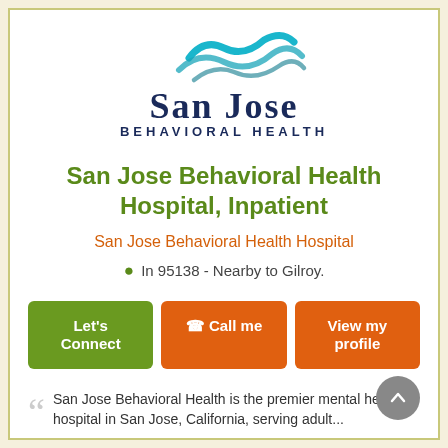[Figure (logo): San Jose Behavioral Health logo with teal wave graphic above stylized text 'SAN JOSE BEHAVIORAL HEALTH']
San Jose Behavioral Health Hospital, Inpatient
San Jose Behavioral Health Hospital
In 95138 - Nearby to Gilroy.
Let's Connect | Call me | View my profile
San Jose Behavioral Health is the premier mental health hospital in San Jose, California, serving adult...